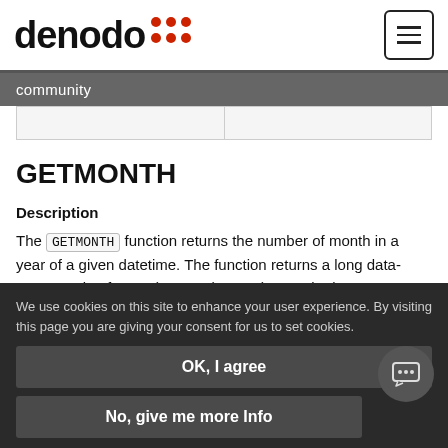denodo community
|  |  |
GETMONTH
Description
The GETMONTH function returns the number of month in a year of a given datetime. The function returns a long data-type, ranging from 1 (January) to 12 (December).
We use cookies on this site to enhance your user experience. By visiting this page you are giving your consent for us to set cookies.
OK, I agree
No, give me more Info